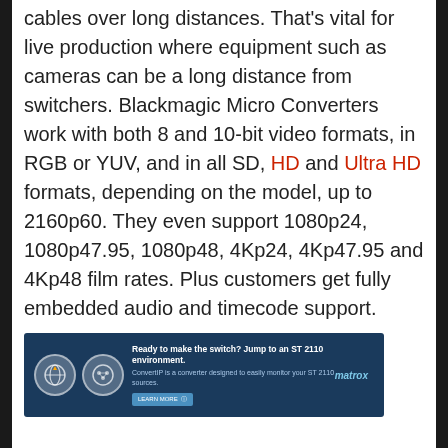cables over long distances. That's vital for live production where equipment such as cameras can be a long distance from switchers. Blackmagic Micro Converters work with both 8 and 10-bit video formats, in RGB or YUV, and in all SD, HD and Ultra HD formats, depending on the model, up to 2160p60. They even support 1080p24, 1080p47.95, 1080p48, 4Kp24, 4Kp47.95 and 4Kp48 film rates. Plus customers get fully embedded audio and timecode support.
[Figure (other): Matrox advertisement banner: 'Ready to make the switch? Jump to an ST 2110 environment. ConvertIP is a converter designed to easily monitor your ST 2110 sources.' with a Learn More button and Matrox branding on dark blue background with network/globe icons.]
For color accurate monitoring, some models include a 3D LUT. Customers can apply custom looks, color and gamma changes in real time...